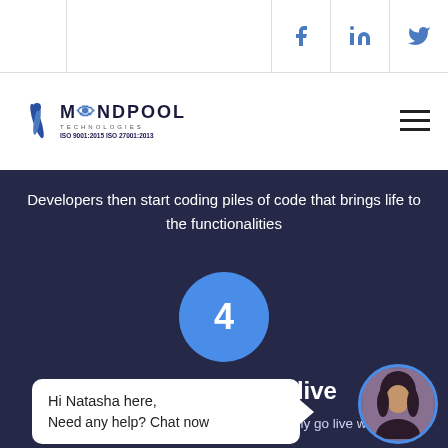Navigation bar with social icons (Facebook, LinkedIn, Twitter) and Mindpool Technologies logo
[Figure (logo): Mindpool Technologies logo with ISO 9001:2015 ISO 27001:2013 certification text]
Developers then start coding piles of code that brings life to the functionalities
[Figure (infographic): Blue circle with number 4 inside, representing step 4]
We Test and Go live
We meticulously test the solution and only go live when
[Figure (screenshot): Chat widget with avatar of Natasha, saying: Hi Natasha here, Need any help? Chat now]